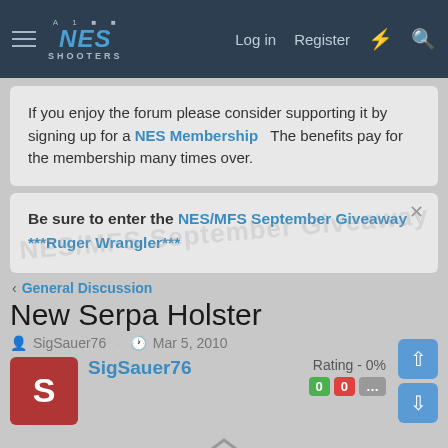NES SHOOTERS — Log in  Register
If you enjoy the forum please consider supporting it by signing up for a NES Membership  The benefits pay for the membership many times over.
Be sure to enter the NES/MFS September Giveaway ***Ruger Wrangler***
< General Discussion
New Serpa Holster
SigSauer76 · Mar 5, 2010
SigSauer76  Rating - 0%  0  0